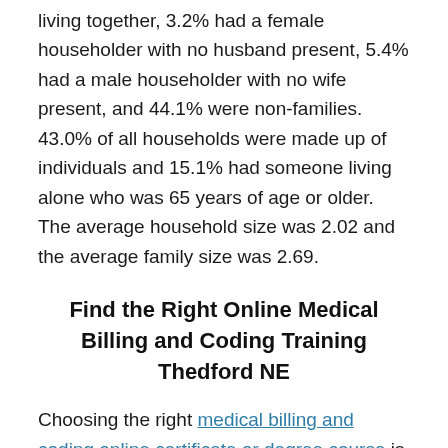living together, 3.2% had a female householder with no husband present, 5.4% had a male householder with no wife present, and 44.1% were non-families. 43.0% of all households were made up of individuals and 15.1% had someone living alone who was 65 years of age or older. The average household size was 2.02 and the average family size was 2.69.
Find the Right Online Medical Billing and Coding Training Thedford NE
Choosing the right medical billing and coding online certificate or degree course is a critical first step to help assure your success in this rewarding field of medical care. Medical coding and medical billing are 2 of the most rapidly growing occupations in the medical sector. Because of this, there are many vocational schools, community colleges and companies that furnish training and education in medical